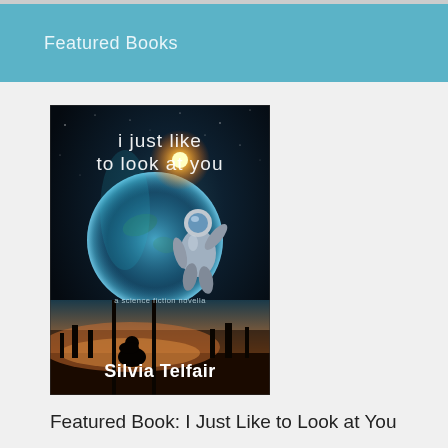Featured Books
[Figure (illustration): Book cover of 'I Just Like to Look at You' by Silvia Telfair — a science fiction novella. Dark space background with an astronaut in silver suit, a planet, glowing light, and a silhouetted figure in foreground against an orange sunset cityscape.]
Featured Book: I Just Like to Look at You by Silvia Telfair